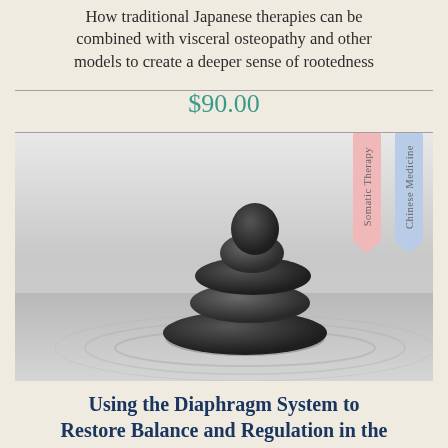How traditional Japanese therapies can be combined with visceral osteopathy and other models to create a deeper sense of rootedness
$90.00
[Figure (photo): Balanced stack of zen stones on water with ripples. Two bookmark-style tags in the upper right: 'Somatic Therapy' (pink/rose) and 'Chinese Medicine' (blue).]
Using the Diaphragm System to Restore Balance and Regulation in the Pelvic Floor: An East Meets West